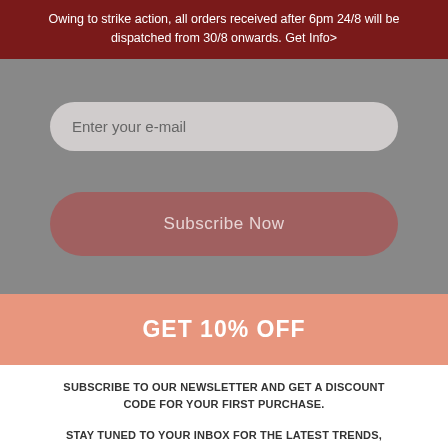Owing to strike action, all orders received after 6pm 24/8 will be dispatched from 30/8 onwards. Get Info>
Enter your e-mail
Subscribe Now
[Figure (other): Social media icons: Facebook, Twitter, Pinterest, Instagram]
Kiyo Beauty 2022 ® All rights Reserved · support@kiyobeauty.com
GET 10% OFF
SUBSCRIBE TO OUR NEWSLETTER AND GET A DISCOUNT CODE FOR YOUR FIRST PURCHASE.
STAY TUNED TO YOUR INBOX FOR THE LATEST TRENDS, EXCLUSIVE OFFERS, NEW PRODUCTS AND LAUNCHES.